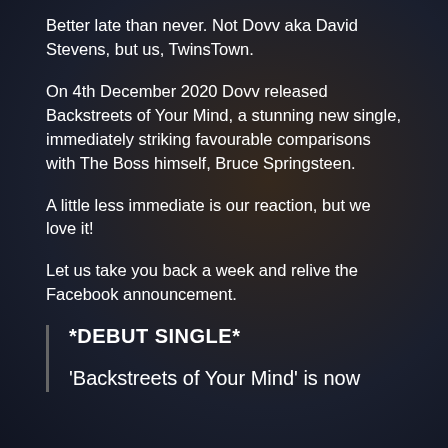Better late than never. Not Dovv aka David Stevens, but us, TwinsTown.
On 4th December 2020 Dovv released Backstreets of Your Mind, a stunning new single, immediately striking favourable comparisons with The Boss himself, Bruce Springsteen.
A little less immediate is our reaction, but we love it!
Let us take you back a week and relive the Facebook announcement.
*DEBUT SINGLE*
'Backstreets of Your Mind' is now